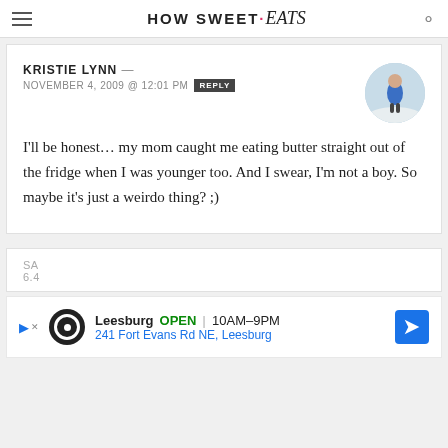HOW SWEET eats
KRISTIE LYNN — NOVEMBER 4, 2009 @ 12:01 PM REPLY
I'll be honest… my mom caught me eating butter straight out of the fridge when I was younger too. And I swear, I'm not a boy. So maybe it's just a weirdo thing? ;)
SA... 6.4...
Leesburg OPEN 10AM–9PM 241 Fort Evans Rd NE, Leesburg